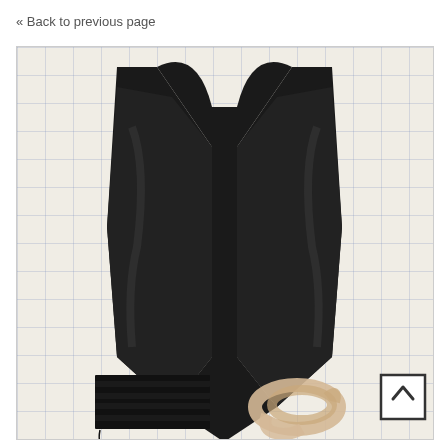« Back to previous page
[Figure (photo): A black strapless bustier/corset laid flat on a white grid pattern surface. The garment has a heart-shaped neckline and pointed hem. Below it are black fabric pieces (boning channels or bones) stacked and a beige/nude elastic or strap coiled nearby.]